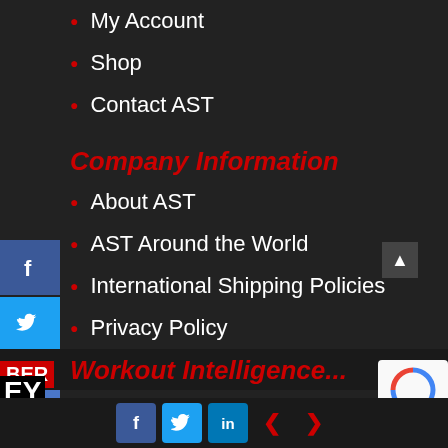My Account
Shop
Contact AST
Company Information
About AST
AST Around the World
International Shipping Policies
Privacy Policy
Terms of Use
[Figure (screenshot): Social share sidebar with Facebook, Twitter, email, Gmail, and Pocket buttons on the left side]
[Figure (screenshot): Bottom bar with Facebook, Twitter, LinkedIn social buttons and left/right navigation arrows, plus reCAPTCHA widget]